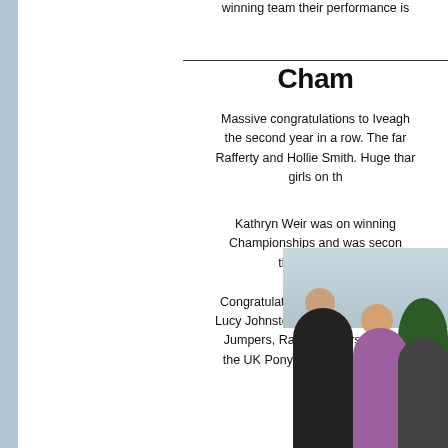winning team their performance is
Cham
Massive congratulations to Iveagh the second year in a row. The far Rafferty and Hollie Smith. Huge thar girls on th
Kathryn Weir was on winning Championships and was secon this discipline
Congratulations also to our Novice Lucy Johnston who are UK Pony Ch Jumpers, Rachel Patterson, Jack the UK Pony Club Novice Show J
[Figure (photo): Group photo of people at an equestrian event, outdoor setting with trees in background]